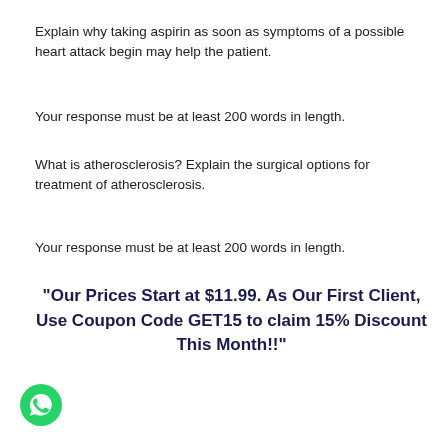Explain why taking aspirin as soon as symptoms of a possible heart attack begin may help the patient.
Your response must be at least 200 words in length.
What is atherosclerosis? Explain the surgical options for treatment of atherosclerosis.
Your response must be at least 200 words in length.
"Our Prices Start at $11.99. As Our First Client, Use Coupon Code GET15 to claim 15% Discount This Month!!"
[Figure (logo): WhatsApp green phone icon in bottom left corner]